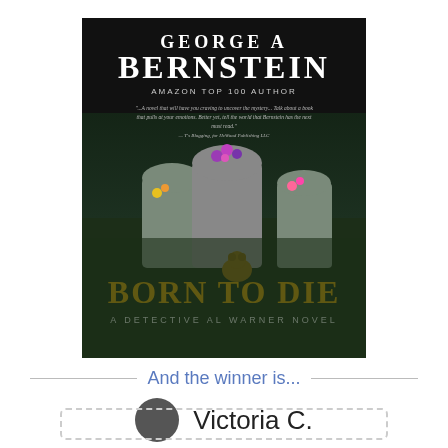[Figure (illustration): Book cover for 'Born to Die: A Detective Al Warner Novel' by George A Bernstein, showing gravestones with flowers in a dark cemetery setting. Text includes 'Amazon Top 100 Author' and a review quote.]
And the winner is...
Victoria C.